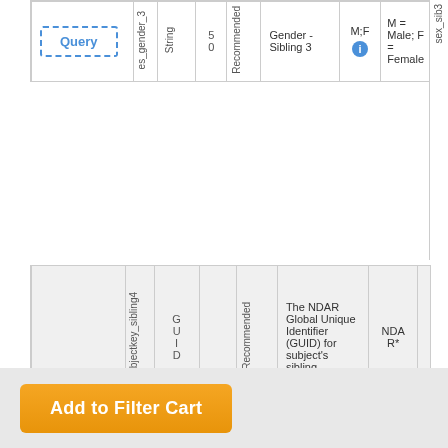|  | Element Name | Type | Size | Required | Description | Aliases | Notes |
| --- | --- | --- | --- | --- | --- | --- | --- |
| Query | es_gender_3 | String | 50 | Recommended | Gender -Sibling 3 | M;F | M = Male; F = Female |
|  | subjectkey_sibling4 | GUID |  | Recommended | The NDAR Global Unique Identifier (GUID) for subject's sibling | NDAR* |  |
|  | src_sib... |  |  | Reco... |  |  |  |
Add to Filter Cart